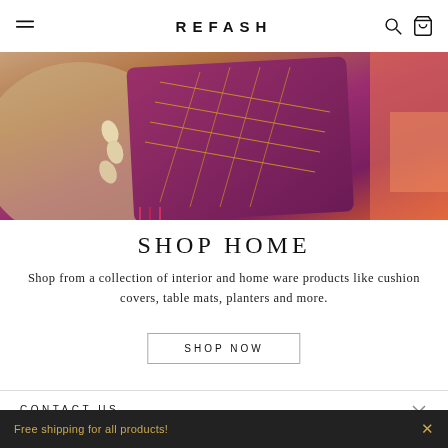REFASH
[Figure (photo): Close-up photo of decorative cushion covers with purple/magenta fabric featuring geometric embroidery patterns in gold, with cowrie shell embellishments and colorful tassels on a beige/natural textile background.]
SHOP HOME
Shop from a collection of interior and home ware products like cushion covers, table mats, planters and more.
SHOP NOW
CONTACT US
Free shipping for all products!